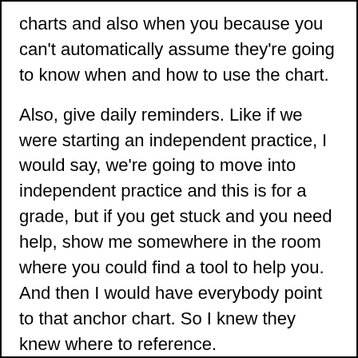charts and also when you because you can't automatically assume they're going to know when and how to use the chart.
Also, give daily reminders. Like if we were starting an independent practice, I would say, we're going to move into independent practice and this is for a grade, but if you get stuck and you need help, show me somewhere in the room where you could find a tool to help you. And then I would have everybody point to that anchor chart. So I knew they knew where to reference.
Ashley:      So two questions come to mind with that, to right beginning a, and